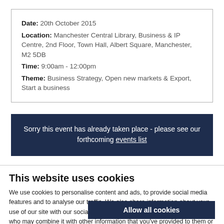Date: 20th October 2015
Location: Manchester Central Library, Business & IP Centre, 2nd Floor, Town Hall, Albert Square, Manchester, M2 5DB
Time: 9:00am - 12:00pm
Theme: Business Strategy, Open new markets & Export, Start a business
Sorry this event has already taken place - please see our forthcoming events list
This website uses cookies
We use cookies to personalise content and ads, to provide social media features and to analyse our traffic. We also share information about your use of our site with our social media, advertising and analytics partners who may combine it with other information that you've provided to them or that they've collected from your use of their services.
Allow all cookies